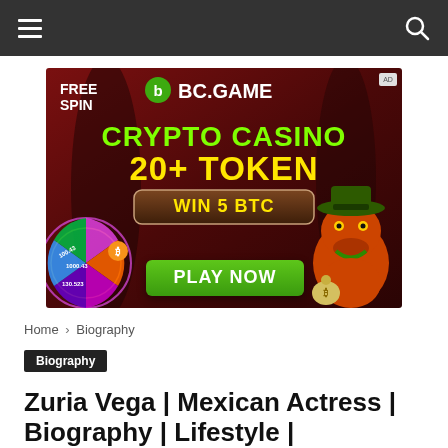≡  [navigation]  Q
[Figure (infographic): BC.GAME crypto casino advertisement banner. Text reads: FREE SPIN, BC.GAME, CRYPTO CASINO, 20+ TOKEN, WIN 5 BTC, PLAY NOW. Features a spin wheel on the left and a cartoon frog character on the right.]
Home › Biography
Biography
Zuria Vega | Mexican Actress | Biography | Lifestyle |